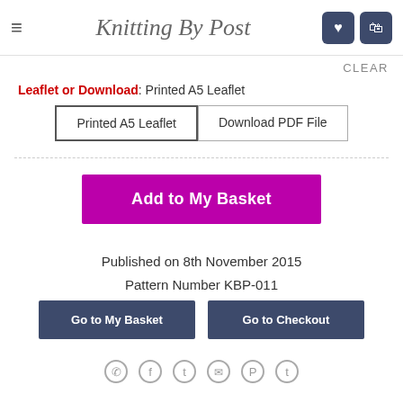Knitting By Post
CLEAR
Leaflet or Download: Printed A5 Leaflet
Printed A5 Leaflet | Download PDF File
Add to My Basket
Published on 8th November 2015
Pattern Number KBP-011
Go to My Basket
Go to Checkout